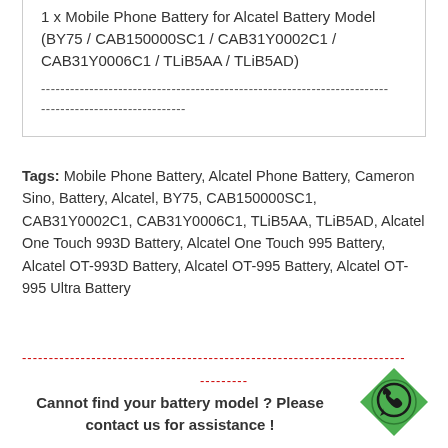1 x Mobile Phone Battery for Alcatel Battery Model (BY75 / CAB150000SC1 / CAB31Y0002C1 / CAB31Y0006C1 / TLiB5AA / TLiB5AD)
--------------------------------------------------------------------
------------------------------
Tags: Mobile Phone Battery, Alcatel Phone Battery, Cameron Sino, Battery, Alcatel, BY75, CAB150000SC1, CAB31Y0002C1, CAB31Y0006C1, TLiB5AA, TLiB5AD, Alcatel One Touch 993D Battery, Alcatel One Touch 995 Battery, Alcatel OT-993D Battery, Alcatel OT-995 Battery, Alcatel OT-995 Ultra Battery
------------------------------------------------------------------------
---------
Cannot find your battery model ? Please contact us for assistance !
[Figure (logo): Green WhatsApp diamond-shaped icon with speech bubble phone symbol]